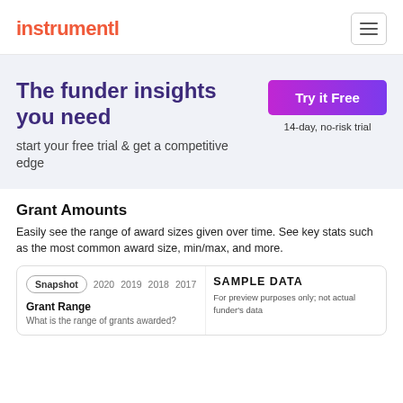instrumentl
The funder insights you need
start your free trial & get a competitive edge
Try it Free
14-day, no-risk trial
Grant Amounts
Easily see the range of award sizes given over time. See key stats such as the most common award size, min/max, and more.
[Figure (screenshot): Snapshot panel showing tabs: Snapshot, 2020, 2019, 2018, 2017. Grant Range section with label 'What is the range of grants awarded?' and a SAMPLE DATA watermark indicating preview purposes only; not actual funder's data.]